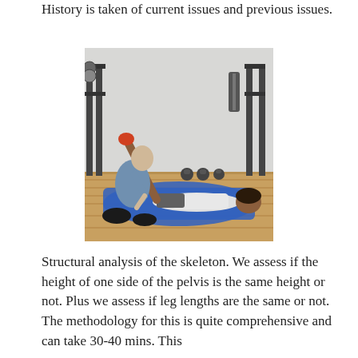History is taken of current issues and previous issues.
[Figure (photo): A practitioner kneeling beside a person lying on a blue mat on a gym floor, holding and examining the person's raised leg. Gym equipment including a squat rack and kettlebells are visible in the background.]
Structural analysis of the skeleton.  We assess if the height of one side of the pelvis is the same height or not.  Plus we assess if leg lengths are the same or not.  The methodology for this is quite comprehensive and can take 30-40 mins.  This